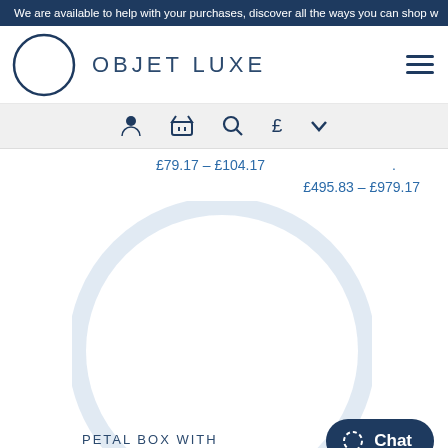We are available to help with your purchases, discover all the ways you can shop w
[Figure (logo): Objet Luxe logo: dark navy circle outline with brand name OBJET LUXE in spaced capitals]
£79.17 – £104.17
£495.83 – £979.17
[Figure (illustration): Large light blue circle outline used as product card background]
PETAL BOX WITH PORCELAIN FLOWER